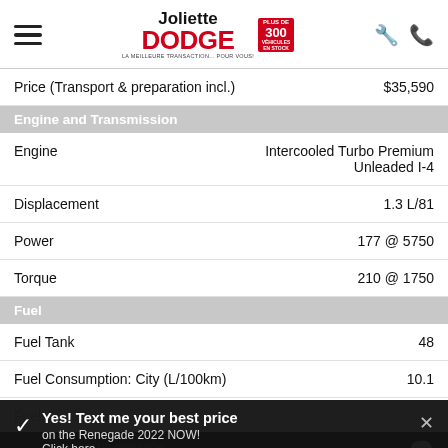Joliette DODGE
Price (Transport & preparation incl.) $35,590
Engine and Transmission
Engine: Intercooled Turbo Premium Unleaded I-4
Displacement: 1.3 L/81
Power: 177 @ 5750
Torque: 210 @ 1750
Fuel
Fuel Tank: 48
Fuel Consumption: City (L/100km): 10.1
[Figure (screenshot): VALUE YOUR TRADE popup overlay with circular arrows icon]
Yes! Text me your best price on the Renegade 2022 NOW! Click here.